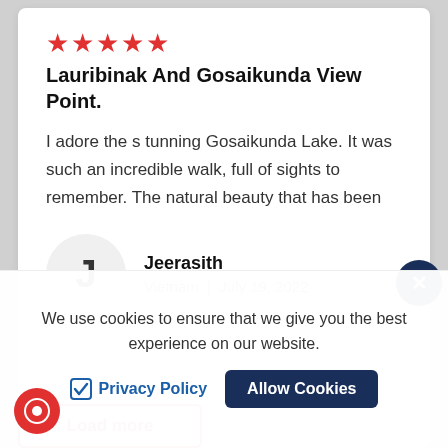★★★★★
Lauribinak And Gosaikunda View Point.
I adore the stunning Gosaikunda Lake. It was such an incredible walk, full of sights to remember. The natural beauty that has been
Jeerasith
Vietnam | July 19, 2022
Load more
We use cookies to ensure that we give you the best experience on our website.
Privacy Policy
Allow Cookies